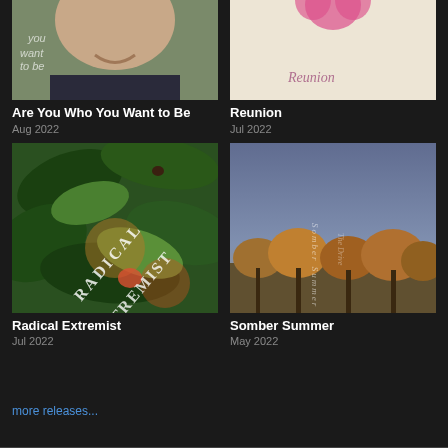[Figure (photo): Album cover for 'Are You Who You Want to Be' — photo of a man smiling with text overlay]
[Figure (photo): Album cover for 'Reunion' — light beige background with pink heart shape and handwritten 'Reunion' text]
Are You Who You Want to Be
Aug 2022
Reunion
Jul 2022
[Figure (photo): Album cover for 'Radical Extremist' — green tropical leaves with text 'RADICAL EXTREMIST' in arc]
[Figure (photo): Album cover for 'Somber Summer' — grey sky with autumn trees and vertical text]
Radical Extremist
Jul 2022
Somber Summer
May 2022
more releases...